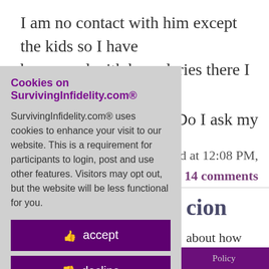I am no contact with him except the kids so I have been good with boundaries there I just don't want to
ts. Do I ask my
ed at 12:08 PM,
14 comments
cion
about how long lace. Right now and is old
and could only vn room and me
Policy
Cookies on SurvivingInfidelity.com®
SurvivingInfidelity.com® uses cookies to enhance your visit to our website. This is a requirement for participants to login, post and use other features. Visitors may opt out, but the website will be less functional for you.
accept
decline
about cookies